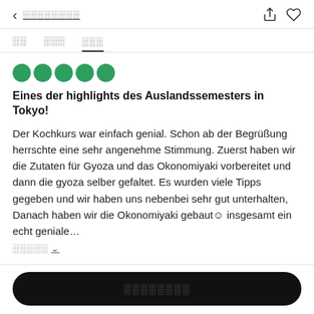< ░░░░░░░░░
░░  ░░░  ░░░
[Figure (other): Five green filled circles representing a 5-star rating]
Eines der highlights des Auslandssemesters in Tokyo!
Der Kochkurs war einfach genial. Schon ab der Begrüßung herrschte eine sehr angenehme Stimmung. Zuerst haben wir die Zutaten für Gyoza und das Okonomiyaki vorbereitet und dann die gyoza selber gefaltet. Es wurden viele Tipps gegeben und wir haben uns nebenbei sehr gut unterhalten, Danach haben wir die Okonomiyaki gebaut☺ insgesamt ein echt geniale…
░░░░░ ∨
░░░░░░░░